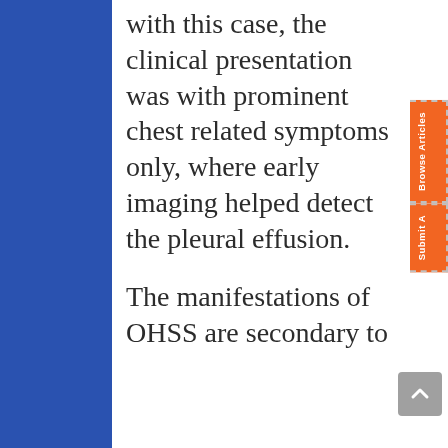with this case, the clinical presentation was with prominent chest related symptoms only, where early imaging helped detect the pleural effusion.
The manifestations of OHSS are secondary to increased vascular permeability